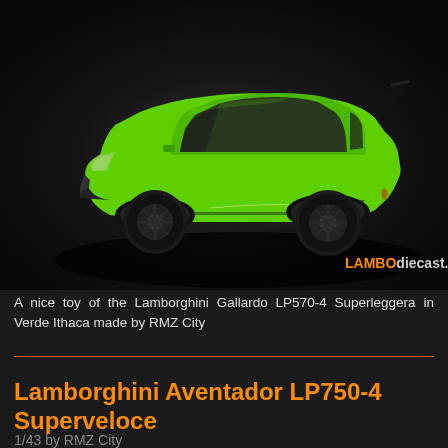[Figure (photo): A bright green Lamborghini Gallardo LP570-4 Superleggera diecast model toy photographed against a dark background, with LAMBOdiecast.com watermark in the lower right corner.]
A nice toy of the Lamborghini Gallardo LP570-4 Superleggera in Verde Ithaca made by RMZ City
Lamborghini Aventador LP750-4 Superveloce
1/43 by RMZ City